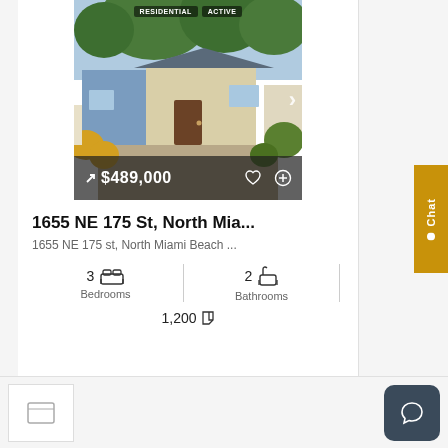[Figure (photo): Exterior photo of a residential house with tropical plants and gravel driveway. Tags 'RESIDENTIAL' and 'ACTIVE' at top. Price '$489,000' shown with icons in overlay bar at bottom.]
1655 NE 175 St, North Mia...
1655 NE 175 st, North Miami Beach ...
3 Bedrooms
2 Bathrooms
1,200